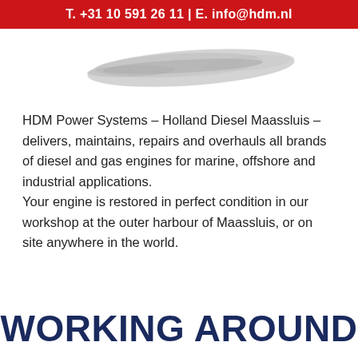T. +31 10 591 26 11 | E. info@hdm.nl
[Figure (logo): HDM logo — grey brushstroke/ship silhouette graphic]
HDM Power Systems – Holland Diesel Maassluis – delivers, maintains, repairs and overhauls all brands of diesel and gas engines for marine, offshore and industrial applications.
Your engine is restored in perfect condition in our workshop at the outer harbour of Maassluis, or on site anywhere in the world.
WORKING AROUND